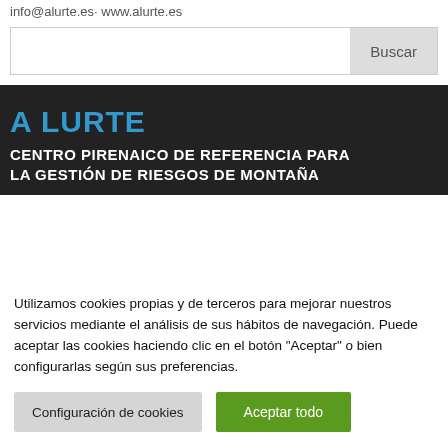info@alurte.es· www.alurte.es
[Figure (other): Search bar with text input and 'Buscar' button]
A LURTE
CENTRO PIRENAICO DE REFERENCIA PARA LA GESTIÓN DE RIESGOS DE MONTAÑA
Utilizamos cookies propias y de terceros para mejorar nuestros servicios mediante el análisis de sus hábitos de navegación. Puede aceptar las cookies haciendo clic en el botón "Aceptar" o bien configurarlas según sus preferencias.
Configuración de cookies | Aceptar todo